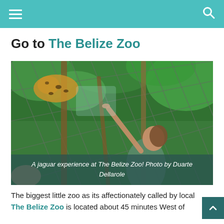Navigation header with menu and search icons
Go to The Belize Zoo
[Figure (photo): A woman reaching up toward a jaguar resting on a platform inside a large mesh enclosure at The Belize Zoo, surrounded by green tropical foliage]
A jaguar experience at The Belize Zoo! Photo by Duarte Dellarole
The biggest little zoo as its affectionately called by local The Belize Zoo is located about 45 minutes West of